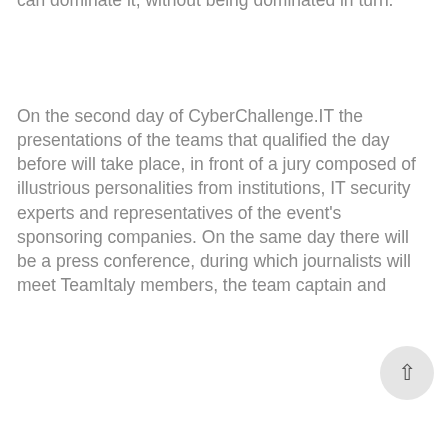can dominate it, without being dominated in turn.
On the second day of CyberChallenge.IT the presentations of the teams that qualified the day before will take place, in front of a jury composed of illustrious personalities from institutions, IT security experts and representatives of the event's sponsoring companies. On the same day there will be a press conference, during which journalists will meet TeamItaly members, the team captain and